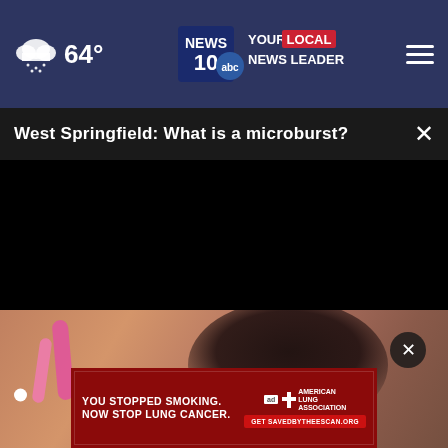64° — News 10 ABC — Your Local News Leader
West Springfield: What is a microburst?
[Figure (screenshot): Video player showing a black/blank video frame with play controls at bottom. Progress bar at 0:00. Below the video player is a partially visible photo of a person, and an advertisement banner for American Lung Association: 'YOU STOPPED SMOKING. NOW STOP LUNG CANCER.' with CTA 'Get SAVEDBYTHEESCAN.ORG']